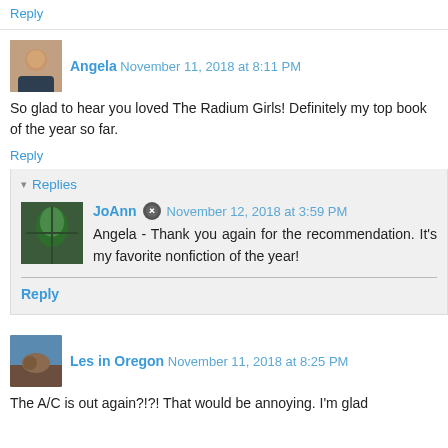Reply
Angela  November 11, 2018 at 8:11 PM
So glad to hear you loved The Radium Girls! Definitely my top book of the year so far.
Reply
Replies
JoAnn  November 12, 2018 at 3:59 PM
Angela - Thank you again for the recommendation. It's my favorite nonfiction of the year!
Reply
Les in Oregon  November 11, 2018 at 8:25 PM
The A/C is out again?!?! That would be annoying. I'm glad